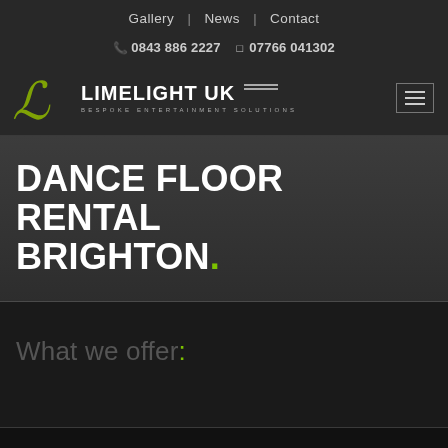Gallery | News | Contact
0843 886 2227  07766 041302
[Figure (logo): Limelight UK logo with stylized L and text 'LIMELIGHT UK' and subtitle 'BESPOKE ENTERTAINMENT SOLUTIONS']
DANCE FLOOR RENTAL BRIGHTON.
What we offer: